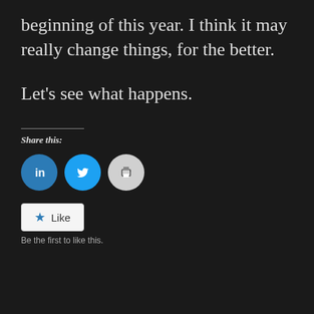beginning of this year. I think it may really change things, for the better.
Let’s see what happens.
Share this:
[Figure (other): Social share buttons: LinkedIn (blue circle with 'in' icon), Twitter (blue circle with bird icon), Print (grey circle with printer icon)]
[Figure (other): Like button widget with star icon and 'Like' text label]
Be the first to like this.